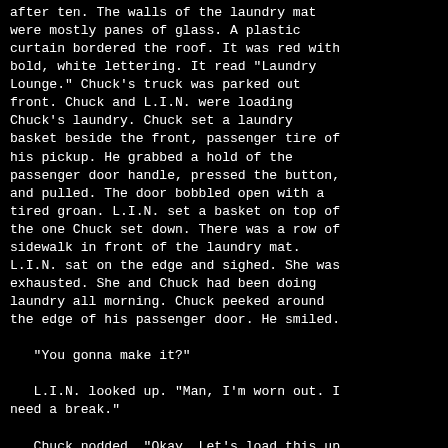after ten. The walls of the laundry mat were mostly panes of glass. A plastic curtain bordered the roof. It was red with bold, white lettering. It read "Laundry Lounge." Chuck's truck was parked out front. Chuck and L.I.N. were loading Chuck's laundry. Chuck set a laundry basket beside the front, passenger tire of his pickup. He grabbed a hold of the passenger door handle, pressed the button, and pulled. The door bobbled open with a tired groan. L.I.N. set a basket on top of the one Chuck set down. There was a row of sidewalk in front of the laundry mat. L.I.N. sat on the edge and sighed. She was exhausted. She and Chuck had been doing laundry all morning. Chuck peeked around the edge of his passenger door. He smiled.

   "You gonna make it?"

   L.I.N. looked up. "Man, I'm worn out. I need a break."

   Chuck nodded. "Okay. Let's load this up, and then we'll go drive around for a bit." L.I.N. exhaled through her nose. She looked over Chuck's shoulder. Chuck narrowed his eyes. He looked over his shoulder. Bat Shit stood behind him. He